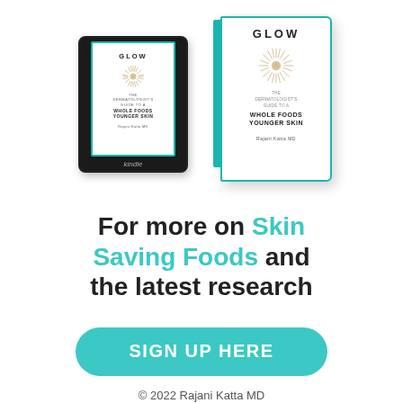[Figure (illustration): Image of a Kindle e-reader and a hardcover book, both showing the cover of 'GLOW: The Dermatologist's Guide to a Whole Foods Younger Skin' by Rajani Katta MD]
For more on Skin Saving Foods and the latest research
SIGN UP HERE
© 2022 Rajani Katta MD